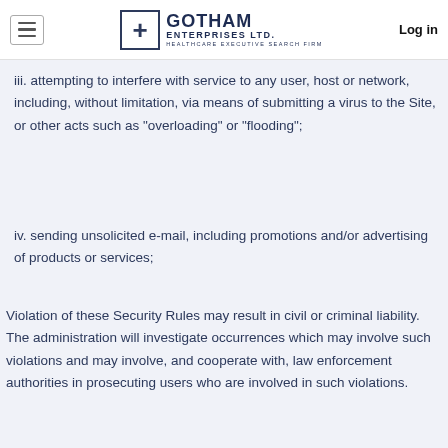Gotham Enterprises Ltd. — Healthcare Executive Search Firm | Log in
iii. attempting to interfere with service to any user, host or network, including, without limitation, via means of submitting a virus to the Site, or other acts such as "overloading" or "flooding";
iv. sending unsolicited e-mail, including promotions and/or advertising of products or services;
Violation of these Security Rules may result in civil or criminal liability. The administration will investigate occurrences which may involve such violations and may involve, and cooperate with, law enforcement authorities in prosecuting users who are involved in such violations.